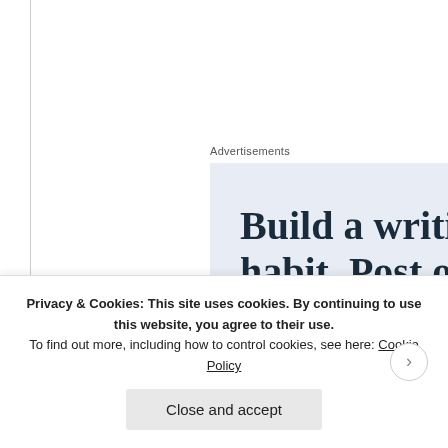Advertisements
[Figure (screenshot): Advertisement banner with text 'Build a writi habit. Post o the go.' on a light blue background]
This entry was posted on January 10, 2016 at 4:49 a reviews. You can follow any responses to this entry thro can skip to the end and leave a response. Pinging is curre
Privacy & Cookies: This site uses cookies. By continuing to use this website, you agree to their use.
To find out more, including how to control cookies, see here: Cookie Policy